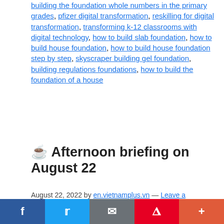building the foundation whole numbers in the primary grades, pfizer digital transformation, reskilling for digital transformation, transforming k-12 classrooms with digital technology, how to build slab foundation, how to build house foundation, how to build house foundation step by step, skyscraper building gel foundation, building regulations foundations, how to build the foundation of a house
☕ Afternoon briefing on August 22
August 22, 2022 by en.vietnamplus.vn — Leave a Comment
[Figure (other): Social sharing bar with Facebook, Twitter, Email, Pinterest, and More buttons]